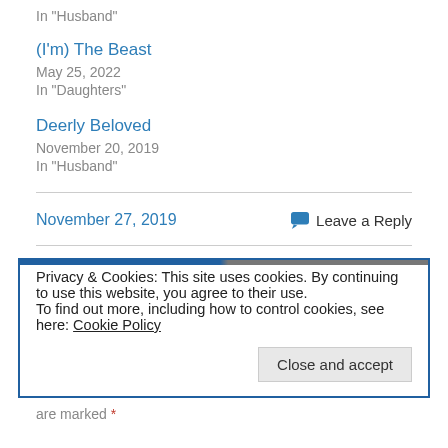In "Husband"
(I'm) The Beast
May 25, 2022
In "Daughters"
Deerly Beloved
November 20, 2019
In "Husband"
November 27, 2019
Leave a Reply
Privacy & Cookies: This site uses cookies. By continuing to use this website, you agree to their use. To find out more, including how to control cookies, see here: Cookie Policy
Close and accept
are marked *